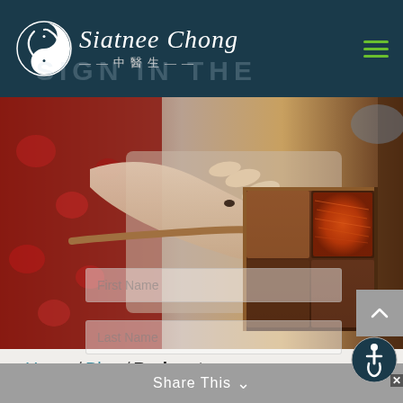[Figure (logo): Siatnee Chong TCM logo with yin-yang dragon symbol and Chinese characters 中醫生]
[Figure (photo): Close-up photo of hands holding traditional Chinese medicine herbs, with wooden box containing saffron/red herbs and a wooden spoon, red floral fabric in background]
Home / Blog / Podcasts
[Figure (other): Form fields: First Name and Last Name input boxes (partially visible, faded)]
Share This